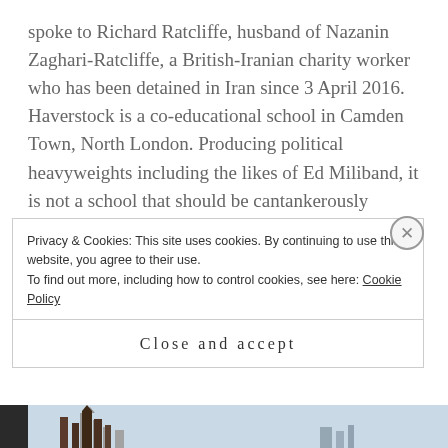spoke to Richard Ratcliffe, husband of Nazanin Zaghari-Ratcliffe, a British-Iranian charity worker who has been detained in Iran since 3 April 2016. Haverstock is a co-educational school in Camden Town, North London. Producing political heavyweights including the likes of Ed Miliband, it is not a school that should be cantankerously dismissed....
[Figure (other): A READ MORE button in orange/amber color with white uppercase text]
[Figure (photo): Partial view of a cityscape/skyline photo with building silhouettes against a light blue sky]
Privacy & Cookies: This site uses cookies. By continuing to use this website, you agree to their use. To find out more, including how to control cookies, see here: Cookie Policy
Close and accept